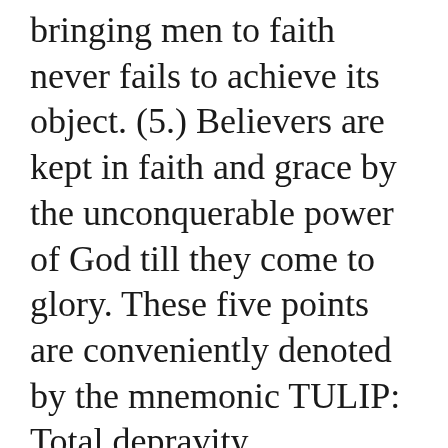bringing men to faith never fails to achieve its object. (5.) Believers are kept in faith and grace by the unconquerable power of God till they come to glory. These five points are conveniently denoted by the mnemonic TULIP: Total depravity, Unconditional election, Limited atonement, Irresistible grace